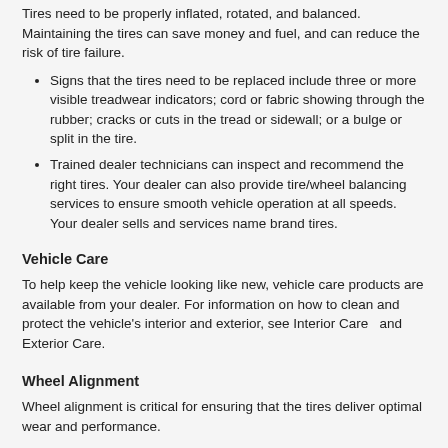Tires need to be properly inflated, rotated, and balanced. Maintaining the tires can save money and fuel, and can reduce the risk of tire failure.
Signs that the tires need to be replaced include three or more visible treadwear indicators; cord or fabric showing through the rubber; cracks or cuts in the tread or sidewall; or a bulge or split in the tire.
Trained dealer technicians can inspect and recommend the right tires. Your dealer can also provide tire/wheel balancing services to ensure smooth vehicle operation at all speeds. Your dealer sells and services name brand tires.
Vehicle Care
To help keep the vehicle looking like new, vehicle care products are available from your dealer. For information on how to clean and protect the vehicle's interior and exterior, see Interior Care  and Exterior Care.
Wheel Alignment
Wheel alignment is critical for ensuring that the tires deliver optimal wear and performance.
Signs that the alignment may need to be adjusted include pulling, improper vehicle handling, or unusual tire wear.
Your dealer has the required equipment to ensure proper wheel alignment.